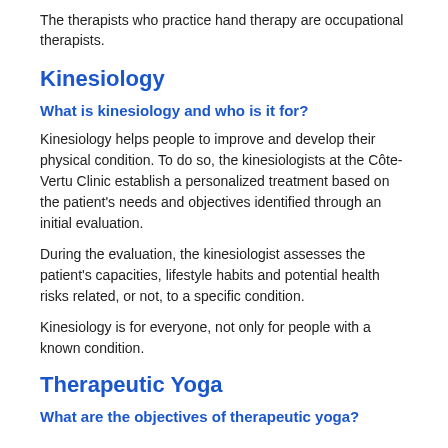The therapists who practice hand therapy are occupational therapists.
Kinesiology
What is kinesiology and who is it for?
Kinesiology helps people to improve and develop their physical condition. To do so, the kinesiologists at the Côte-Vertu Clinic establish a personalized treatment based on the patient's needs and objectives identified through an initial evaluation.
During the evaluation, the kinesiologist assesses the patient's capacities, lifestyle habits and potential health risks related, or not, to a specific condition.
Kinesiology is for everyone, not only for people with a known condition.
Therapeutic Yoga
What are the objectives of therapeutic yoga?